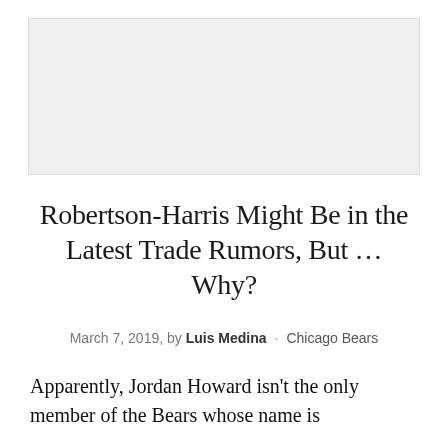[Figure (photo): Placeholder image area at top of article page]
Robertson-Harris Might Be in the Latest Trade Rumors, But … Why?
March 7, 2019, by Luis Medina · Chicago Bears
Apparently, Jordan Howard isn't the only member of the Bears whose name is